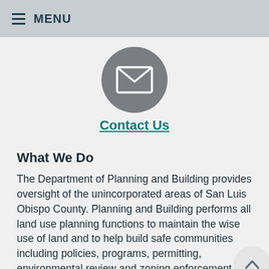MENU
[Figure (illustration): Circular gray icon with white envelope/mail symbol in the center]
Contact Us
What We Do
The Department of Planning and Building provides oversight of the unincorporated areas of San Luis Obispo County. Planning and Building performs all land use planning functions to maintain the wise use of land and to help build safe communities including policies, programs, permitting, environmental review and zoning enforcement.